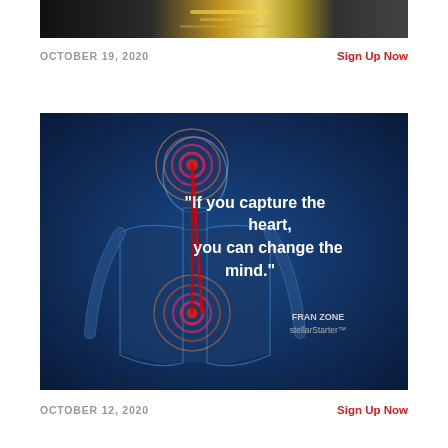[Figure (photo): Top strip of a photo showing a dark room with bright light/tunnel effect, partially visible]
OCTOBER 19, 2020
Sign Up Now
[Figure (illustration): Blue glowing human figure diagram with concentric rings at the brain and heart area, a red arrow/line connecting them, with the quote: "If you capture the heart, you can change the mind." attributed to FRAN ZONE stellarStarter™]
OCTOBER 12, 2020
Sign Up Now